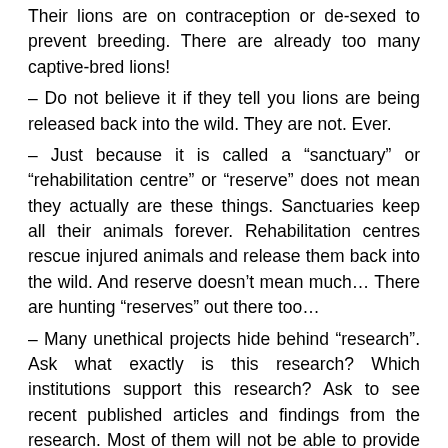Their lions are on contraception or de-sexed to prevent breeding. There are already too many captive-bred lions!
– Do not believe it if they tell you lions are being released back into the wild. They are not. Ever.
– Just because it is called a “sanctuary” or “rehabilitation centre” or “reserve” does not mean they actually are these things. Sanctuaries keep all their animals forever. Rehabilitation centres rescue injured animals and release them back into the wild. And reserve doesn’t mean much… There are hunting “reserves” out there too…
– Many unethical projects hide behind “research”. Ask what exactly is this research? Which institutions support this research? Ask to see recent published articles and findings from the research. Most of them will not be able to provide this. Be very careful of lion breeders using research as a defense!
– The number of lion breeding facilities in South Afri...